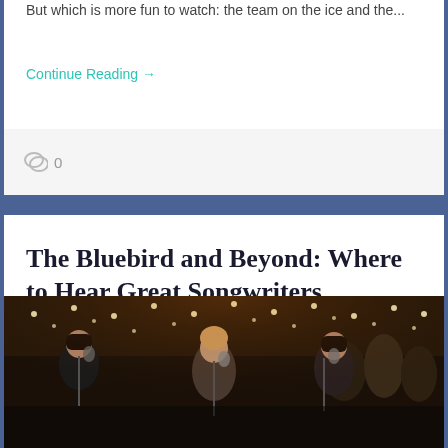But which is more fun to watch: the team on the ice and the...
Continue Reading →
0
The Bluebird and Beyond: Where to Hear Great Songwriters
[Figure (photo): Photo of women performing on stage at a music venue with string lights in the background, singing into microphones]